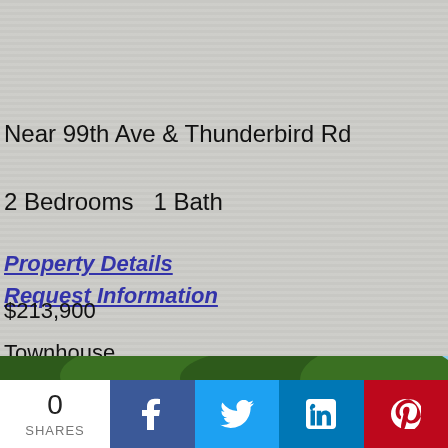Near 99th Ave & Thunderbird Rd
2 Bedrooms   1 Bath
Property Details
Request Information
$213,900
Townhouse
1,141 Sqft
[Figure (photo): Exterior photo with large tree canopy and blue sky in background]
0
SHARES